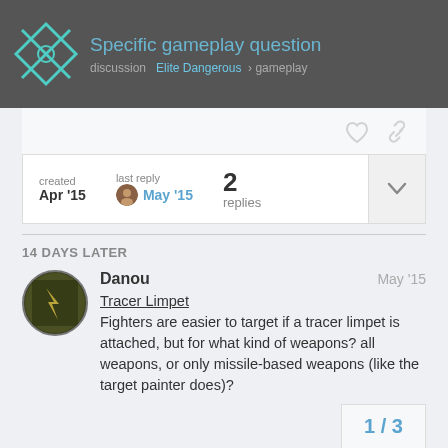Specific gameplay question
created Apr '15  last reply May '15  2 replies
14 DAYS LATER
Danou  May '15
Tracer Limpet
Fighters are easier to target if a tracer limpet is attached, but for what kind of weapons? all weapons, or only missile-based weapons (like the target painter does)?
1 / 3